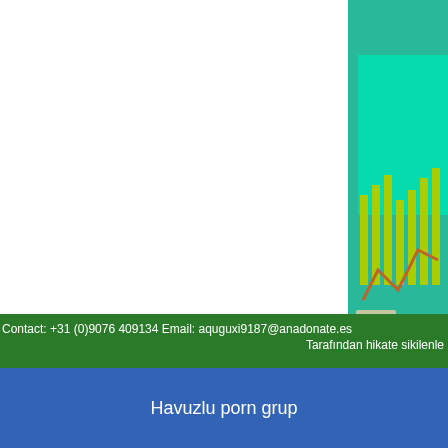[Figure (screenshot): Partial screenshot of a website with green and teal background, showing bar chart elements and decorative graphic elements on the right side of the page.]
film sitesi. izlenir, kesintisiz s movies for free. Pa become one of the oct.
Contact: +31 (0)9076 409134 Email: aquguxi9187@anadonate.es
Tarafından hikate sikilenle
Havuzlu porn grup